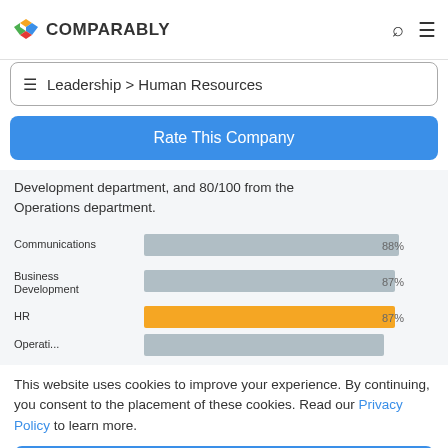COMPARABLY
Leadership > Human Resources
Rate This Company
Development department, and 80/100 from the Operations department.
[Figure (bar-chart): Department HR Ratings]
This website uses cookies to improve your experience. By continuing, you consent to the placement of these cookies. Read our Privacy Policy to learn more.
ACCEPT